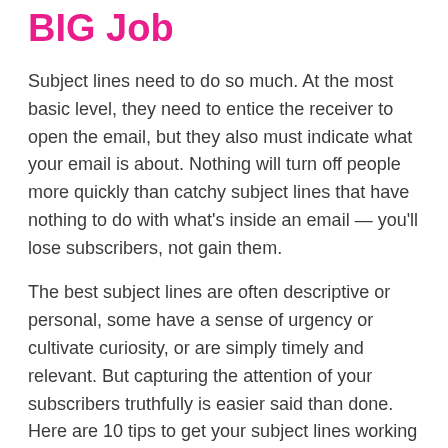BIG Job
Subject lines need to do so much. At the most basic level, they need to entice the receiver to open the email, but they also must indicate what your email is about. Nothing will turn off people more quickly than catchy subject lines that have nothing to do with what's inside an email — you'll lose subscribers, not gain them.
The best subject lines are often descriptive or personal, some have a sense of urgency or cultivate curiosity, or are simply timely and relevant. But capturing the attention of your subscribers truthfully is easier said than done. Here are 10 tips to get your subject lines working harder for you.